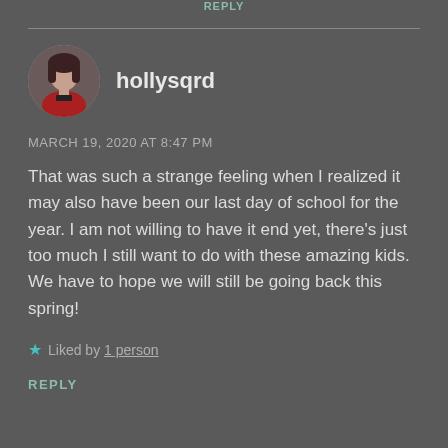REPLY
[Figure (photo): Circular avatar photo of a woman with dark hair wearing a red jacket, dark background]
hollysqrd
MARCH 19, 2020 AT 8:47 PM
That was such a strange feeling when I realized it may also have been our last day of school for the year. I am not willing to have it end yet, there's just too much I still want to do with these amazing kids. We have to hope we will still be going back this spring!
★ Liked by 1 person
REPLY